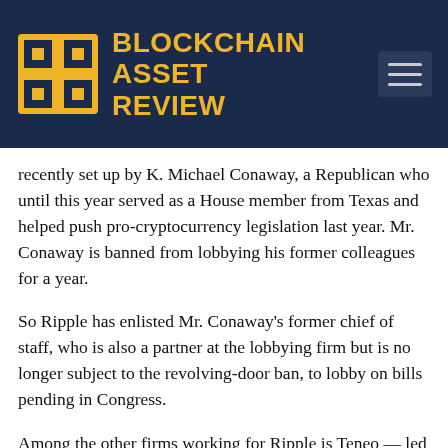[Figure (logo): Blockchain Asset Review logo with yellow B icon on dark navy background and yellow bold text reading BLOCKCHAIN ASSET REVIEW, with a hamburger menu icon in the top right]
recently set up by K. Michael Conaway, a Republican who until this year served as a House member from Texas and helped push pro-cryptocurrency legislation last year. Mr. Conaway is banned from lobbying his former colleagues for a year.
So Ripple has enlisted Mr. Conaway's former chief of staff, who is also a partner at the lobbying firm but is no longer subject to the revolving-door ban, to lobby on bills pending in Congress.
Among the other firms working for Ripple is Teneo — led by Declan Kelly, a former aide to Mrs. Clinton — which has assigned Tony Sayegh, a senior Treasury Department official during the Trump administration, to help shape its communications strategy in